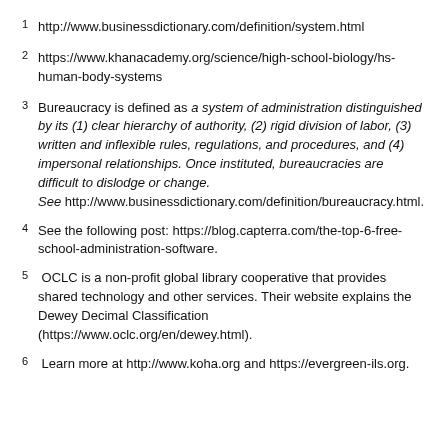1 http://www.businessdictionary.com/definition/system.html
2 https://www.khanacademy.org/science/high-school-biology/hs-human-body-systems
3 Bureaucracy is defined as a system of administration distinguished by its (1) clear hierarchy of authority, (2) rigid division of labor, (3) written and inflexible rules, regulations, and procedures, and (4) impersonal relationships. Once instituted, bureaucracies are difficult to dislodge or change. See http://www.businessdictionary.com/definition/bureaucracy.html.
4 See the following post: https://blog.capterra.com/the-top-6-free-school-administration-software.
5 OCLC is a non-profit global library cooperative that provides shared technology and other services. Their website explains the Dewey Decimal Classification (https://www.oclc.org/en/dewey.html).
6 Learn more at http://www.koha.org and https://evergreen-ils.org.